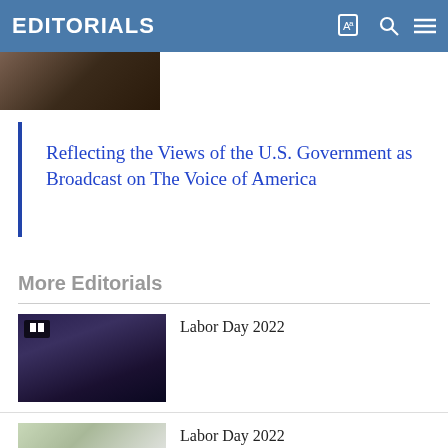EDITORIALS
[Figure (photo): Partial photo visible at top of page, appears to show people]
Reflecting the Views of the U.S. Government as Broadcast on The Voice of America
More Editorials
Labor Day 2022
[Figure (photo): Thumbnail image of a marching band with purple uniforms, with a video play icon overlay]
Labor Day 2022
[Figure (photo): Small thumbnail image, partially visible at bottom]